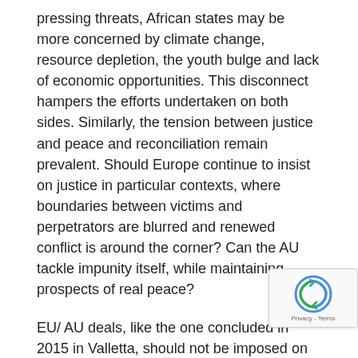pressing threats, African states may be more concerned by climate change, resource depletion, the youth bulge and lack of economic opportunities. This disconnect hampers the efforts undertaken on both sides. Similarly, the tension between justice and peace and reconciliation remain prevalent. Should Europe continue to insist on justice in particular contexts, where boundaries between victims and perpetrators are blurred and renewed conflict is around the corner? Can the AU tackle impunity itself, while maintaining prospects of real peace?
EU/ AU deals, like the one concluded in 2015 in Valletta, should not be imposed on African states. Instead, joint efforts should be made that can harness the capa[cities] the AU and its constituent members have develop[ed in] dealing with local issues. Furthermore, there was a call